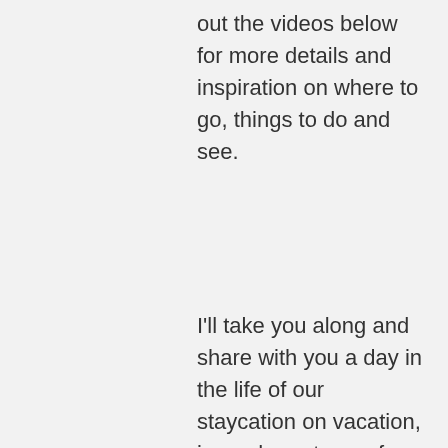out the videos below for more details and inspiration on where to go, things to do and see.
I'll take you along and share with you a day in the life of our staycation on vacation, in our hometown of Plovdiv, Bulgaria! We're staying at grandma's house, and exploring old as well as new places we love, and hope to